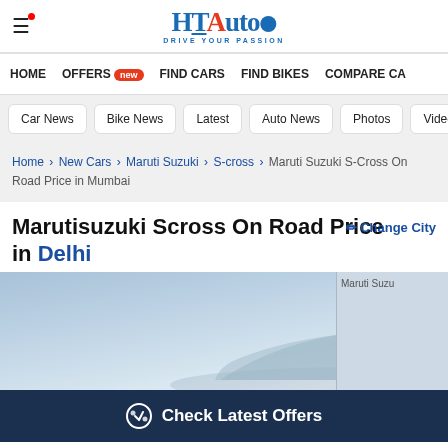HT Auto - Drive Your Passion
HOME | OFFERS new | FIND CARS | FIND BIKES | COMPARE CA...
Car News | Bike News | Latest | Auto News | Photos | Videos
Home > New Cars > Maruti Suzuki > S-cross > Maruti Suzuki S-Cross On Road Price in Mumbai
Marutisuzuki Scross On Road Price in Delhi
[Figure (photo): Maruti Suzuki S-Cross car photo against cloudy sky background]
Check Latest Offers